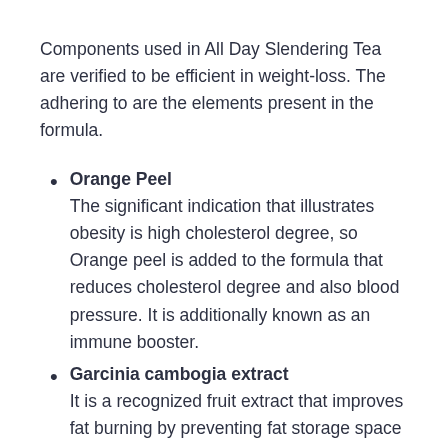Components used in All Day Slendering Tea are verified to be efficient in weight-loss. The adhering to are the elements present in the formula.
Orange Peel
The significant indication that illustrates obesity is high cholesterol degree, so Orange peel is added to the formula that reduces cholesterol degree and also blood pressure. It is additionally known as an immune booster.
Garcinia cambogia extract
It is a recognized fruit extract that improves fat burning by preventing fat storage space as well as regulating poor eating practices. buy all day slimming tea Sioux Falls South Dakota Additionally, Garcinia is a recognized cravings